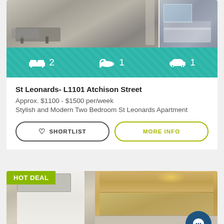[Figure (photo): Apartment interior photos showing living/dining area and bedroom]
[Figure (infographic): Teal amenities bar showing 2 bedrooms, 1 bathroom, 1 car space]
St Leonards- L1101 Atchison Street
Approx. $1100 - $1500 per/week
Stylish and Modern Two Bedroom St Leonards Apartment
[Figure (photo): Kitchen interior photo with HOT DEAL badge and chat button]